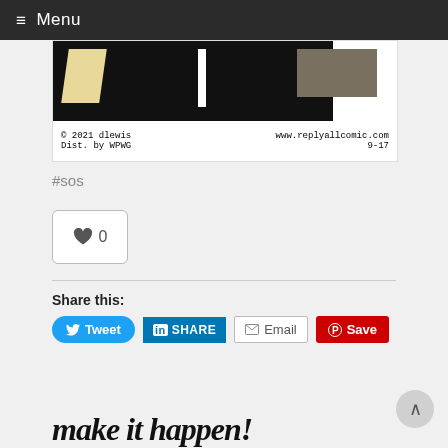≡ Menu
[Figure (illustration): Bottom portion of a comic strip with black background, cream/yellow diagonal shape, white bar, and brown-gray rectangle. Footer shows: © 2021 dlewis / Dist. by WPWG on left, www.replyallcomic.com / 9-17 on right.]
#sos
[Figure (other): Like button with heart icon showing count 0]
Share this:
[Figure (infographic): Social share buttons: Tweet (Twitter blue), SHARE (LinkedIn blue), Email (white outlined), Save (Pinterest red)]
make it happen!